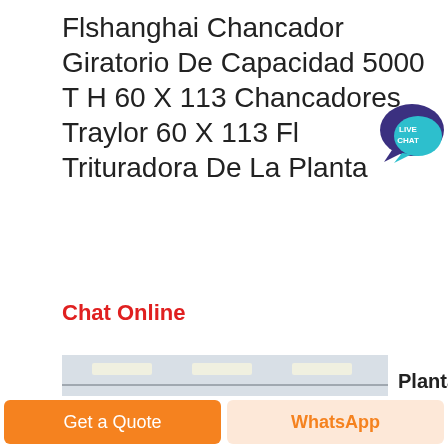Flshanghai Chancador Giratorio De Capacidad 5000 T H 60 X 113 Chancadores Traylor 60 X 113 Fl Trituradora De La Planta
[Figure (logo): Live Chat bubble badge icon in teal/blue color]
Chat Online
[Figure (photo): Industrial factory interior showing large cylindrical drum mill/rotary kiln on steel frame structure, with conveyor pipes and machinery, inside a large warehouse building]
Planta
Get a Quote
WhatsApp